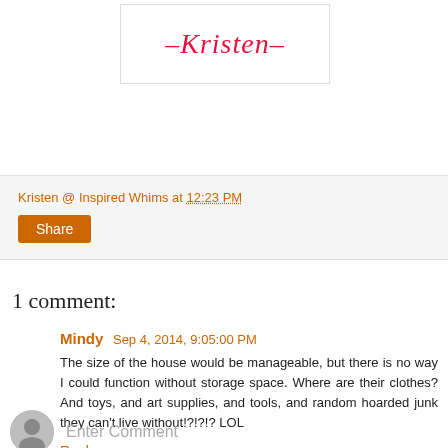[Figure (illustration): Signature reading '- Kristen -' in red cursive script inside a white box with light border]
Kristen @ Inspired Whims at 12:23 PM
Share
1 comment:
Mindy Sep 4, 2014, 9:05:00 PM
The size of the house would be manageable, but there is no way I could function without storage space. Where are their clothes? And toys, and art supplies, and tools, and random hoarded junk they can't live without!?!?!? LOL
Reply
Enter Comment